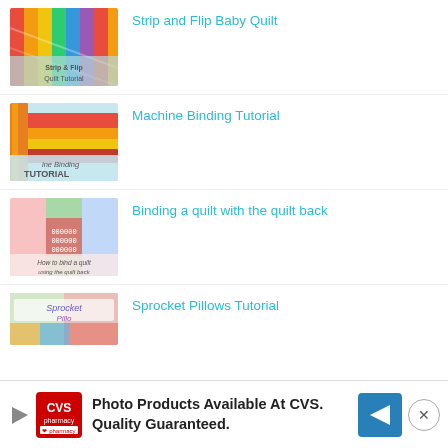Strip and Flip Baby Quilt
Machine Binding Tutorial
Binding a quilt with the quilt back
Sprocket Pillows Tutorial
Photo Products Available At CVS. Quality Guaranteed.